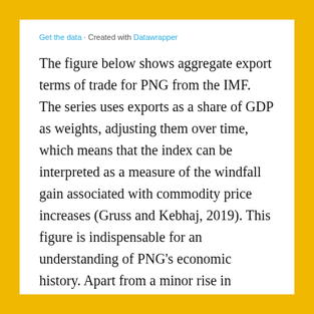Get the data · Created with Datawrapper
The figure below shows aggregate export terms of trade for PNG from the IMF. The series uses exports as a share of GDP as weights, adjusting them over time, which means that the index can be interpreted as a measure of the windfall gain associated with commodity price increases (Gruss and Kebhaj, 2019). This figure is indispensable for an understanding of PNG's economic history. Apart from a minor rise in commodity prices immediately after independence, the 1960s and 1970s...